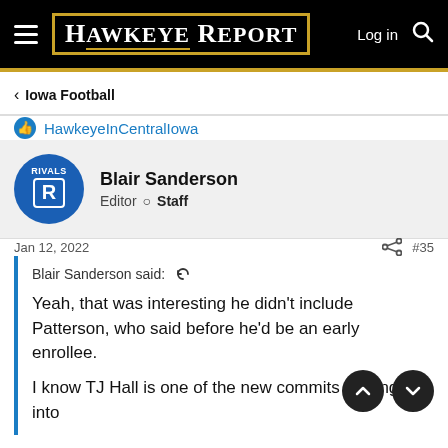HAWKEYE REPORT — Log in
< Iowa Football
HawkeyeInCentralIowa
Blair Sanderson
Editor  Staff
Jan 12, 2022  #35
Blair Sanderson said: ↺

Yeah, that was interesting he didn't include Patterson, who said before he'd be an early enrollee.

I know TJ Hall is one of the new commits looking into